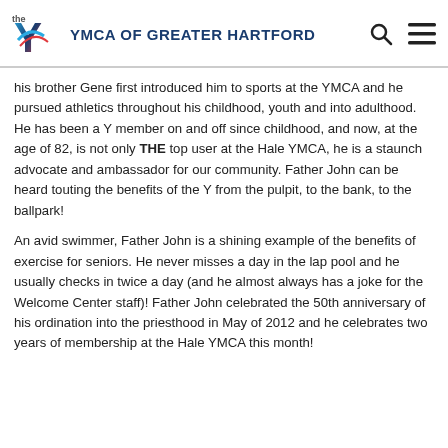YMCA OF GREATER HARTFORD
his brother Gene first introduced him to sports at the YMCA and he pursued athletics throughout his childhood, youth and into adulthood. He has been a Y member on and off since childhood, and now, at the age of 82, is not only THE top user at the Hale YMCA, he is a staunch advocate and ambassador for our community. Father John can be heard touting the benefits of the Y from the pulpit, to the bank, to the ballpark!
An avid swimmer, Father John is a shining example of the benefits of exercise for seniors. He never misses a day in the lap pool and he usually checks in twice a day (and he almost always has a joke for the Welcome Center staff)! Father John celebrated the 50th anniversary of his ordination into the priesthood in May of 2012 and he celebrates two years of membership at the Hale YMCA this month!